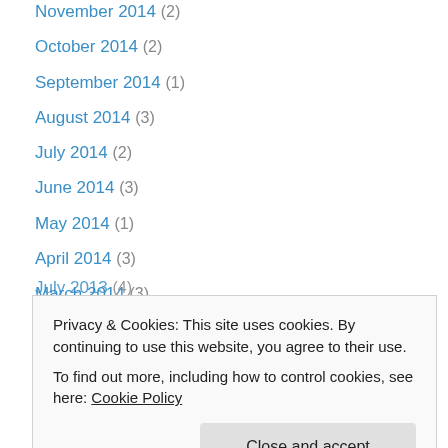November 2014 (2)
October 2014 (2)
September 2014 (1)
August 2014 (3)
July 2014 (2)
June 2014 (3)
May 2014 (1)
April 2014 (3)
March 2014 (3)
February 2014 (2)
December 2013 (1)
November 2013 (1)
August 2013 (2)
July 2013 (4)
January 2013 (1)
Privacy & Cookies: This site uses cookies. By continuing to use this website, you agree to their use. To find out more, including how to control cookies, see here: Cookie Policy
Close and accept